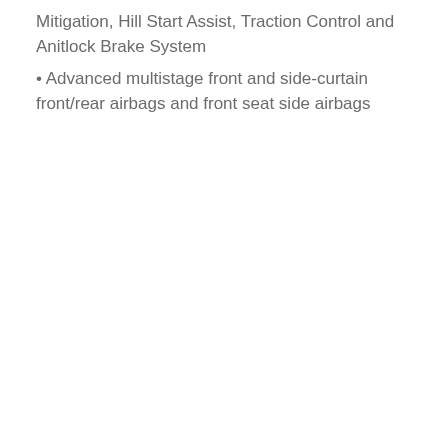Mitigation, Hill Start Assist, Traction Control and Anitlock Brake System
Advanced multistage front and side-curtain front/rear airbags and front seat side airbags